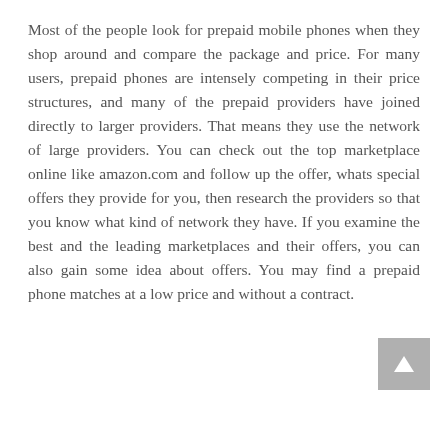Most of the people look for prepaid mobile phones when they shop around and compare the package and price. For many users, prepaid phones are intensely competing in their price structures, and many of the prepaid providers have joined directly to larger providers. That means they use the network of large providers. You can check out the top marketplace online like amazon.com and follow up the offer, whats special offers they provide for you, then research the providers so that you know what kind of network they have. If you examine the best and the leading marketplaces and their offers, you can also gain some idea about offers. You may find a prepaid phone matches at a low price and without a contract.